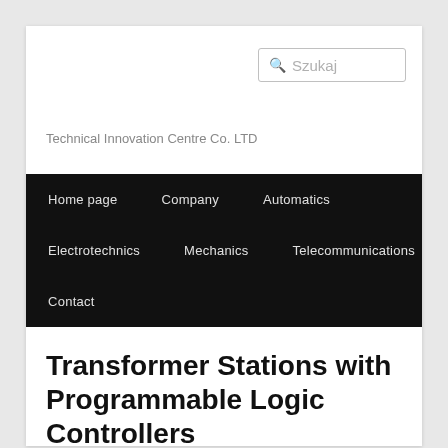Technical Innovation Centre Co. LTD
Home page  Company  Automatics  Electrotechnics  Mechanics  Telecommunications  Contact
Transformer Stations with Programmable Logic Controllers